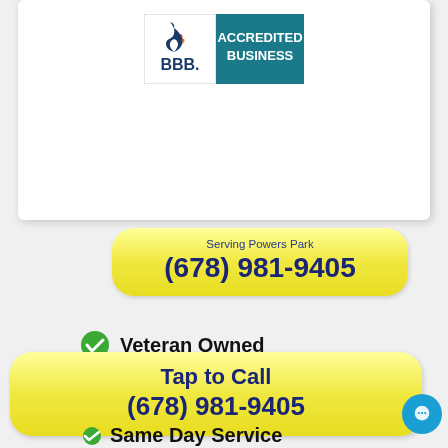[Figure (logo): BBB Accredited Business badge with blue background and white BBB flame logo]
Serving Powers Park
(678) 981-9405
Veteran Owned
BBB A+ Rated
Tap to Call
(678) 981-9405
Same Day Service